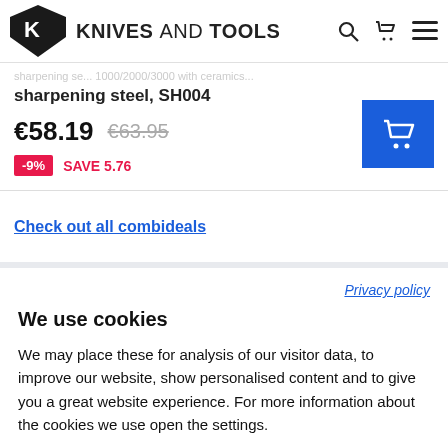KNIVES AND TOOLS
sharpening se... 1000/2000/3000 with ceramics...
sharpening steel, SH004
€58.19  €63.95  -9%  SAVE 5.76
Check out all combideals
Privacy policy
We use cookies
We may place these for analysis of our visitor data, to improve our website, show personalised content and to give you a great website experience. For more information about the cookies we use open the settings.
Accept all
Deny
No, adjust